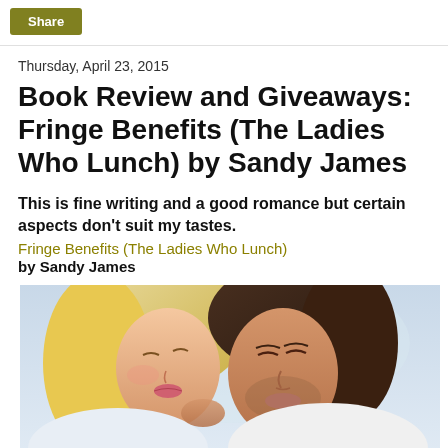Share
Thursday, April 23, 2015
Book Review and Giveaways: Fringe Benefits (The Ladies Who Lunch) by Sandy James
This is fine writing and a good romance but certain aspects don't suit my tastes.
Fringe Benefits (The Ladies Who Lunch)
by Sandy James
[Figure (photo): Book cover photo showing a blonde woman and a dark-haired man about to kiss, close-up romantic shot]